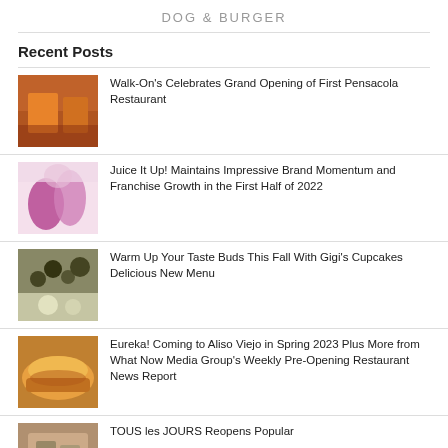DOG & BURGER
Recent Posts
Walk-On's Celebrates Grand Opening of First Pensacola Restaurant
Juice It Up! Maintains Impressive Brand Momentum and Franchise Growth in the First Half of 2022
Warm Up Your Taste Buds This Fall With Gigi's Cupcakes Delicious New Menu
Eureka! Coming to Aliso Viejo in Spring 2023 Plus More from What Now Media Group's Weekly Pre-Opening Restaurant News Report
TOUS les JOURS Reopens Popular